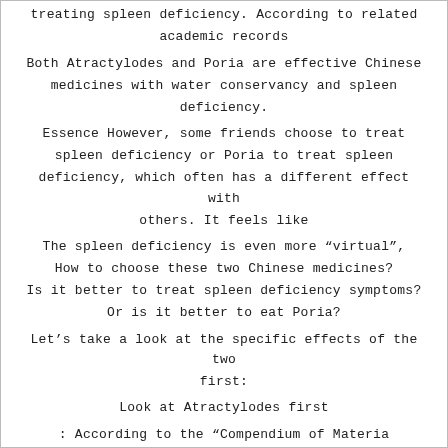treating spleen deficiency. According to related academic records
Both Atractylodes and Poria are effective Chinese medicines with water conservancy and spleen deficiency.
Essence However, some friends choose to treat spleen deficiency or Poria to treat spleen deficiency, which often has a different effect with others. It feels like
The spleen deficiency is even more “virtual”,
How to choose these two Chinese medicines?
Is it better to treat spleen deficiency symptoms?
Or is it better to eat Poria?
Let’s take a look at the specific effects of the two first:
Look at Atractylodes first
: According to the “Compendium of Materia